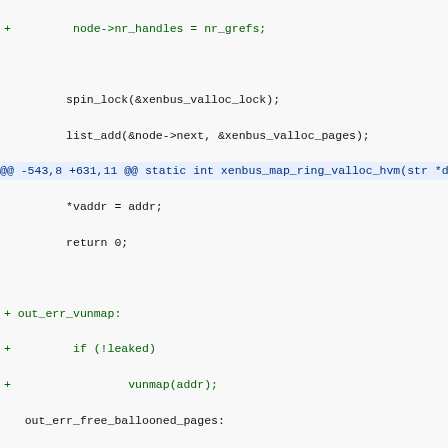Diff/patch code snippet showing changes to xenbus_map_ring_valloc_hvm function
+ node->nr_handles = nr_grefs;

        spin_lock(&xenbus_valloc_lock);
        list_add(&node->next, &xenbus_valloc_pages);
@@ -543,8 +631,11 @@ static int xenbus_map_ring_valloc_hvm(str *dev,
        *vaddr = addr;
        return 0;

+ out_err_vunmap:
+        if (!leaked)
+                vunmap(addr);
  out_err_free_ballooned_pages:
-        free_xenballooned_pages(1, &node->page);
+        free_xenballooned_pages(nr_grefs, node->hvm.page);
  out_err:
        kfree(node);
        return err;
@@ -554,35 +645,80 @@ static int xenbus_map_ring_valloc_hvm(st xenbus_device *dev,
 /**
  * xenbus_map_ring
  * @dev: xenbus device
- * @gnt_ref: grant reference
- * @handle: pointer to grant handle to be filled
  * @addr: please refer to comments at the front